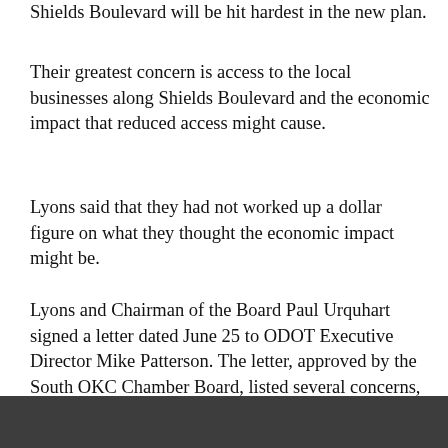Shields Boulevard will be hit hardest in the new plan.
Their greatest concern is access to the local businesses along Shields Boulevard and the economic impact that reduced access might cause.
Lyons said that they had not worked up a dollar figure on what they thought the economic impact might be.
Lyons and Chairman of the Board Paul Urquhart signed a letter dated June 25 to ODOT Executive Director Mike Patterson. The letter, approved by the South OKC Chamber Board, listed several concerns, including the economic impact on local businesses and added traffic strain to Eastern, Santa Fe and Walker avenues due to the closing off of Pole Road and Shields Boulevard.